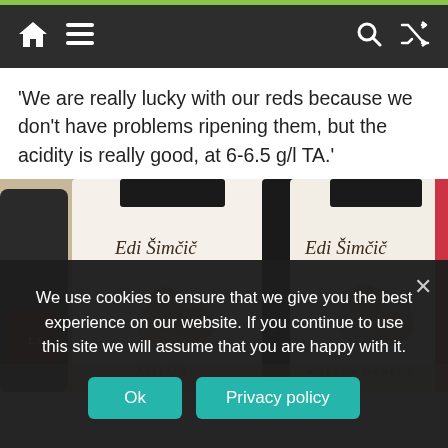Navigation bar with home, menu, search, and shuffle icons
‘We are really lucky with our reds because we don’t have problems ripening them, but the acidity is really good, at 6-6.5 g/l TA.’
[Figure (photo): Two wine bottles with 'Edi Simcic' labels. Left bottle labeled 'KOLOS', right bottle labeled 'KOZANA MERLOT'. Artistic cat/fox illustrations on labels.]
We use cookies to ensure that we give you the best experience on our website. If you continue to use this site we will assume that you are happy with it.